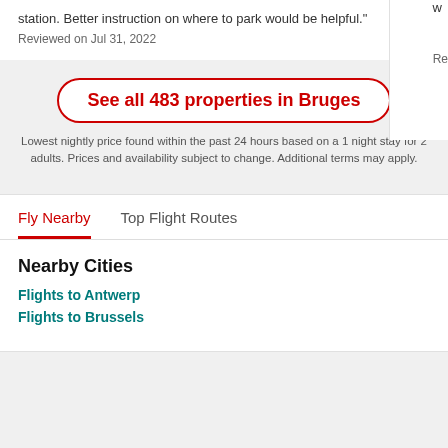station. Better instruction on where to park would be helpful."
Reviewed on Jul 31, 2022
See all 483 properties in Bruges
Lowest nightly price found within the past 24 hours based on a 1 night stay for 2 adults. Prices and availability subject to change. Additional terms may apply.
Fly Nearby
Top Flight Routes
Nearby Cities
Flights to Antwerp
Flights to Brussels